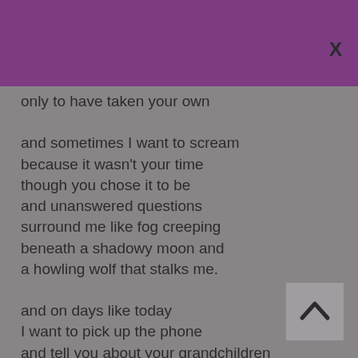[Figure (other): Purple header bar background]
×
only to have taken your own

and sometimes I want to scream
because it wasn't your time
though you chose it to be
and unanswered questions
surround me like fog creeping
beneath a shadowy moon and
a howling wolf that stalks me.

and on days like today
I want to pick up the phone
and tell you about your grandchildren
knowing it would make you happy
because when you were happy,
I could be happy too.
[Figure (other): Scroll up arrow button]